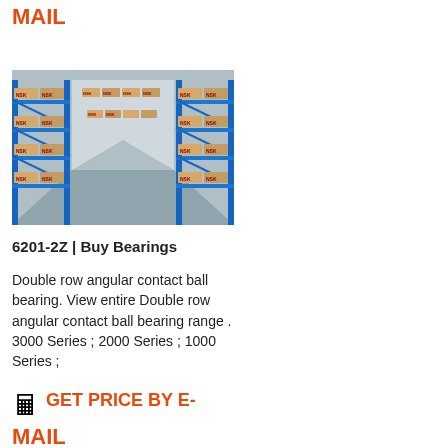MAIL
[Figure (photo): Warehouse shelves stocked with NSK bearing boxes on blue metal racking, viewed from a center aisle perspective.]
6201-2Z | Buy Bearings
Double row angular contact ball bearing. View entire Double row angular contact ball bearing range . 3000 Series ; 2000 Series ; 1000 Series ;
GET PRICE BY E-MAIL